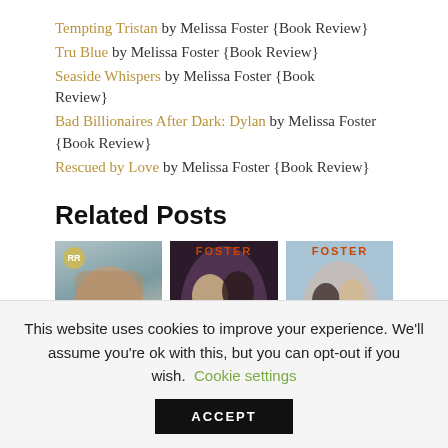Tempting Tristan by Melissa Foster {Book Review}
Tru Blue by Melissa Foster {Book Review}
Seaside Whispers by Melissa Foster {Book Review}
Bad Billionaires After Dark: Dylan by Melissa Foster {Book Review}
Rescued by Love by Melissa Foster {Book Review}
Related Posts
[Figure (photo): Three romance novel book covers in a row: left cover shows a muscular man with an RR badge, middle and right covers show couples embracing with FOSTER branding]
This website uses cookies to improve your experience. We'll assume you're ok with this, but you can opt-out if you wish. Cookie settings ACCEPT